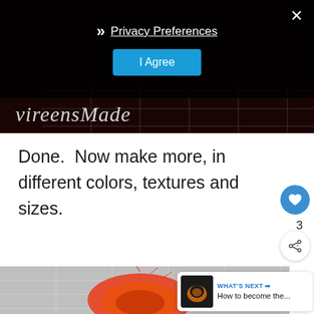[Figure (photo): Dark background photo with cursive 'vireensMade' watermark text and grid lines visible, partially obscured by privacy consent overlay]
Privacy Preferences
I Agree
Done.  Now make more, in different colors, textures and sizes.
[Figure (photo): Photo of an orange fabric flower/rose on a grey grid cutting mat background]